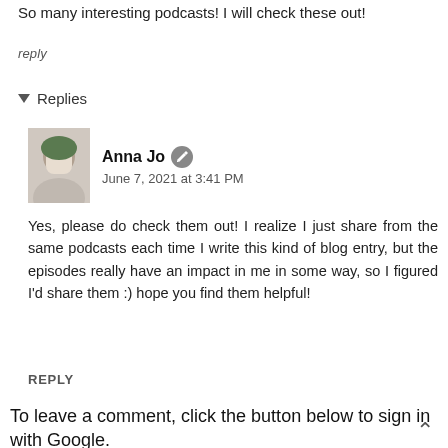So many interesting podcasts! I will check these out!
reply
▾ Replies
Anna Jo
June 7, 2021 at 3:41 PM
Yes, please do check them out! I realize I just share from the same podcasts each time I write this kind of blog entry, but the episodes really have an impact in me in some way, so I figured I'd share them :) hope you find them helpful!
REPLY
To leave a comment, click the button below to sign in with Google.
SIGN IN WITH GOOGLE